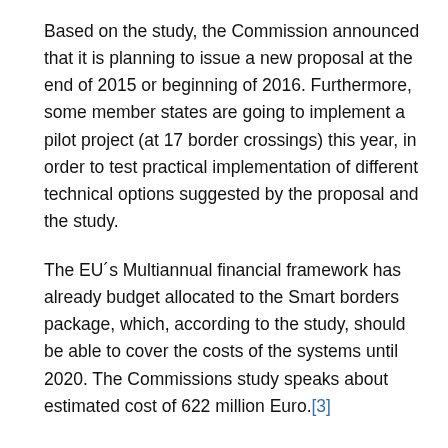Based on the study, the Commission announced that it is planning to issue a new proposal at the end of 2015 or beginning of 2016. Furthermore, some member states are going to implement a pilot project (at 17 border crossings) this year, in order to test practical implementation of different technical options suggested by the proposal and the study.
The EU´s Multiannual financial framework has already budget allocated to the Smart borders package, which, according to the study, should be able to cover the costs of the systems until 2020. The Commissions study speaks about estimated cost of 622 million Euro.[3]
On 23-24 February 2015 members of national parliaments have held a joint meeting with the European Parliaments LIBE Committee.[4] The Rapporteurs for Smart Borders...